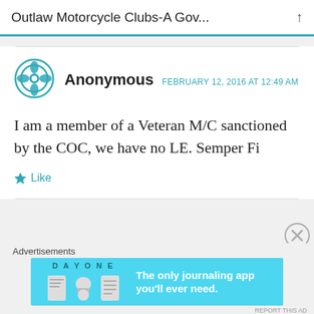Outlaw Motorcycle Clubs-A Gov...
Anonymous   FEBRUARY 12, 2016 AT 12:49 AM
I am a member of a Veteran M/C sanctioned by the COC, we have no LE. Semper Fi
Like
Advertisements
[Figure (screenshot): Day One journaling app advertisement banner: 'The only journaling app you'll ever need.']